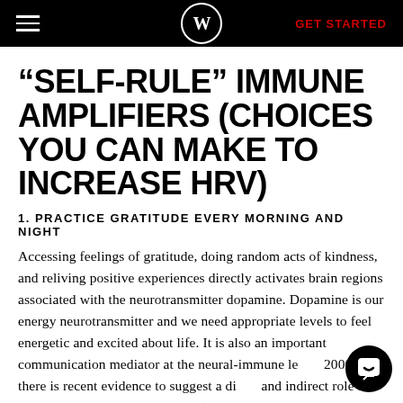W — GET STARTED
“SELF-RULE” IMMUNE AMPLIFIERS (CHOICES YOU CAN MAKE TO INCREASE HRV)
1. PRACTICE GRATITUDE EVERY MORNING AND NIGHT
Accessing feelings of gratitude, doing random acts of kindness, and reliving positive experiences directly activates brain regions associated with the neurotransmitter dopamine. Dopamine is our energy neurotransmitter and we need appropriate levels to feel energetic and excited about life. It is also an important communication mediator at the neural-immune le... 2000) and there is recent evidence to suggest a di... and indirect role in modulating the immune system (Toth,